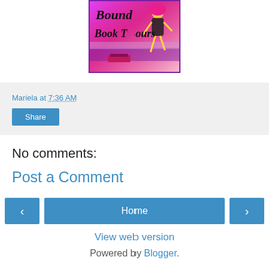[Figure (logo): Bound Book Tours logo — pink/purple background with stylized text 'Bound Book Tours' and illustrated figure of a woman]
Mariela at 7:36 AM
Share
No comments:
Post a Comment
‹
Home
›
View web version
Powered by Blogger.